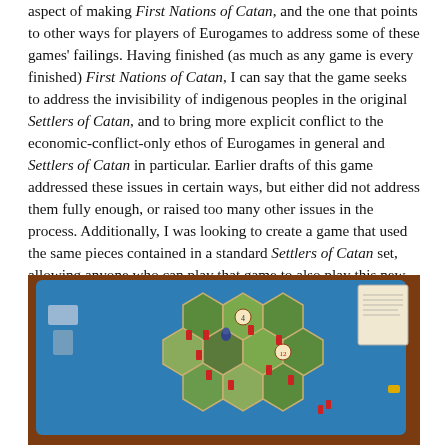aspect of making First Nations of Catan, and the one that points to other ways for players of Eurogames to address some of these games' failings. Having finished (as much as any game is every finished) First Nations of Catan, I can say that the game seeks to address the invisibility of indigenous peoples in the original Settlers of Catan, and to bring more explicit conflict to the economic-conflict-only ethos of Eurogames in general and Settlers of Catan in particular. Earlier drafts of this game addressed these issues in certain ways, but either did not address them fully enough, or raised too many other issues in the process. Additionally, I was looking to create a game that used the same pieces contained in a standard Settlers of Catan set, allowing anyone who can play that game to also play this new, revised version.
[Figure (photo): Photograph of a board game setup on a wooden table showing the First Nations of Catan board game with hexagonal tiles in blue and green, red game pieces, numbered tokens (4, 12, etc.), and a reference card in the corner.]